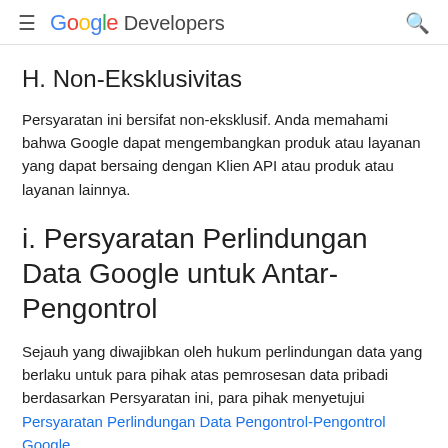Google Developers
H. Non-Eksklusivitas
Persyaratan ini bersifat non-eksklusif. Anda memahami bahwa Google dapat mengembangkan produk atau layanan yang dapat bersaing dengan Klien API atau produk atau layanan lainnya.
i. Persyaratan Perlindungan Data Google untuk Antar-Pengontrol
Sejauh yang diwajibkan oleh hukum perlindungan data yang berlaku untuk para pihak atas pemrosesan data pribadi berdasarkan Persyaratan ini, para pihak menyetujui Persyaratan Perlindungan Data Pengontrol-Pengontrol Google.